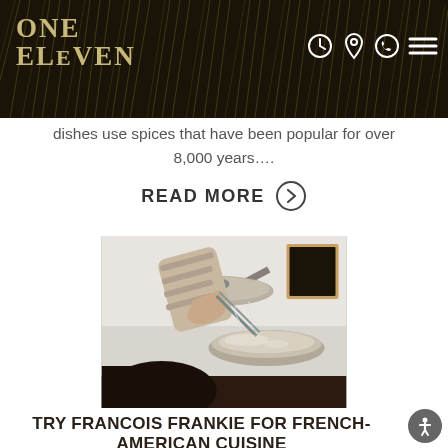ONE ELEVEN
dishes use spices that have been popular for over 8,000 years….
READ MORE →
[Figure (photo): A person using tongs or a utensil over a stainless steel pan in a kitchen setting]
TRY FRANCOIS FRANKIE FOR FRENCH-AMERICAN CUISINE